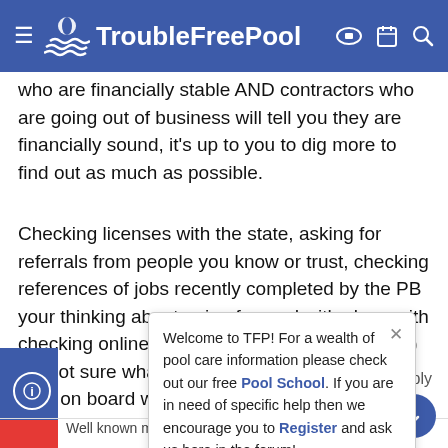TroubleFreePool
who are financially stable AND contractors who are going out of business will tell you they are financially sound, it's up to you to dig more to find out as much as possible.
Checking licenses with the state, asking for referrals from people you know or trust, checking references of jobs recently completed by the PB your thinking about going forward with along with checking online reviews (yelp, Angie's list ect...) I'm not sure what else you can do to make sure your on board with a competent builder.
Welcome to TFP! For a wealth of pool care information please check out our free Pool School. If you are in need of specific help then we encourage you to Register and ask us here in the forum!
Well known member